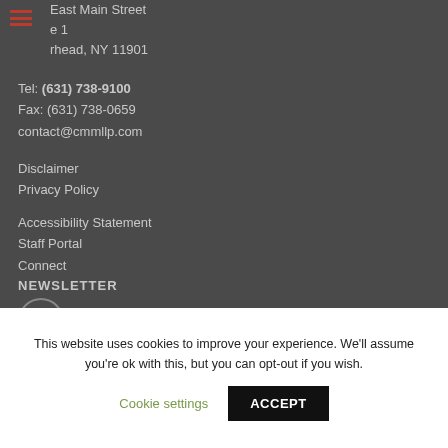[Figure (other): Hamburger menu icon with three horizontal red lines]
East Main Street
e 1
rhead, NY 11901
Tel: (631) 738-9100
Fax: (631) 738-0659
contact@cmmllp.com
Disclaimer
Privacy Policy
Accessibility Statement
Staff Portal
Connect
NEWSLETTER
[Figure (other): Email envelope icon inside a circle]
SOCIAL MEDIA
[Figure (other): Row of four social media circle icons (partially visible)]
This website uses cookies to improve your experience. We'll assume you're ok with this, but you can opt-out if you wish.
Cookie settings
ACCEPT